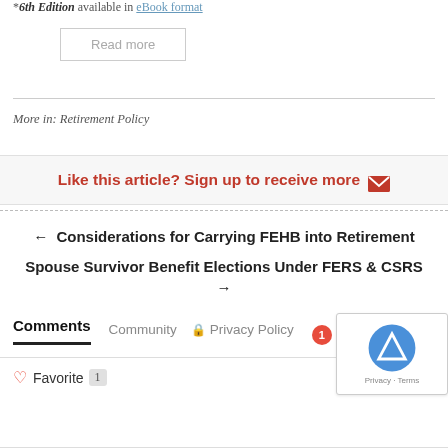*6th Edition available in eBook format
Read more
More in: Retirement Policy
Like this article? Sign up to receive more ✉
← Considerations for Carrying FEHB into Retirement
Spouse Survivor Benefit Elections Under FERS & CSRS →
Comments  Community  🔒 Privacy Policy  1
♡ Favorite 1   Sort